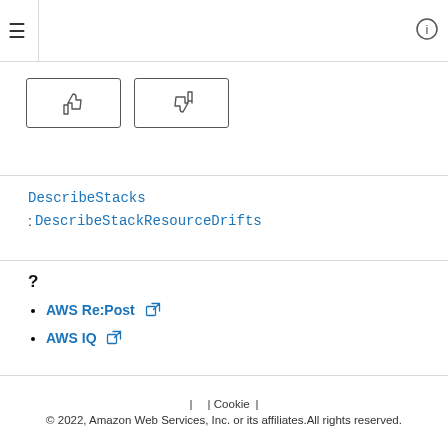Navigation bar with hamburger menu and info icon
[Figure (other): Thumbs up and thumbs down feedback buttons]
DescribeStacks
: DescribeStackResourceDrifts
?
AWS Re:Post
AWS IQ
| | Cookie | © 2022, Amazon Web Services, Inc. or its affiliates. All rights reserved.